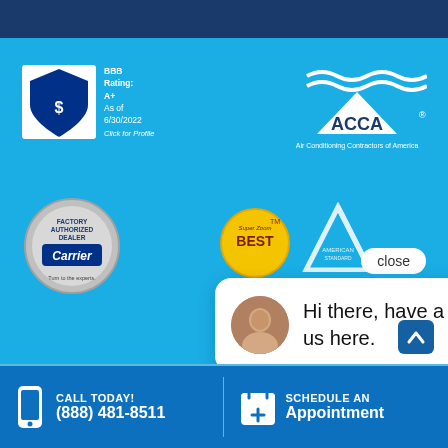[Figure (logo): BBB Accredited Business badge with rating A+ as of 6/30/2022 and Click for Profile text]
[Figure (logo): ACCA Air Conditioning Contractors of America logo]
[Figure (logo): Carrier Factory Authorized Dealer silver badge - Turn to the experts]
[Figure (logo): Super Zoom Best yellow badge]
[Figure (logo): American Standard logo partial]
[Figure (screenshot): Chat popup bubble with female avatar saying Hi there, have a question? Text us here. with close button]
[Figure (logo): Best AC Repair Business award wreath 2021]
[Figure (infographic): Purple message circle icon and blue up-arrow scroll button]
CALL TODAY! (888) 481-8511
SCHEDULE AN Appointment